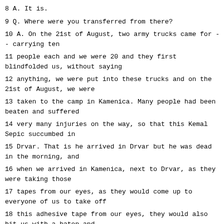8 A. It is.
9 Q. Where were you transferred from there?
10 A. On the 21st of August, two army trucks came for -
- carrying ten
11 people each and we were 20 and they first blindfolded us, without saying
12 anything, we were put into these trucks and on the 21st of August, we were
13 taken to the camp in Kamenica. Many people had been beaten and suffered
14 very many injuries on the way, so that this Kemal Sepic succumbed in
15 Drvar. That is he arrived in Drvar but he was dead in the morning, and
16 when we arrived in Kamenica, next to Drvar, as they were taking those
17 tapes from our eyes, as they would come up to everyone of us to take off
18 this adhesive tape from our eyes, they would also hit us with a baton and